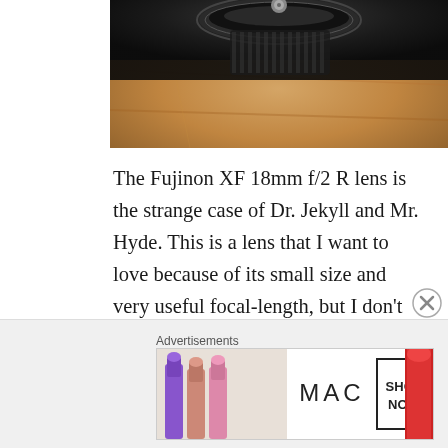[Figure (photo): Close-up photo of a Fujinon camera lens from above, resting on a wooden surface. The lens barrel and top controls are visible against a warm brown wooden background.]
The Fujinon XF 18mm f/2 R lens is the strange case of Dr. Jekyll and Mr. Hyde. This is a lens that I want to love because of its small size and very useful focal-length, but I don't love it because its way overpriced and has a disappointing focus system. I'm getting a little ahead of myself, though; I have plenty that I want to discuss about the Fujinon 18mm f/2 before giving my conclusion.
[Figure (photo): MAC Cosmetics advertisement banner showing colorful lipsticks on the left (purple, peach, pink, red) alongside the MAC logo and a 'SHOP NOW' call-to-action box.]
Advertisements